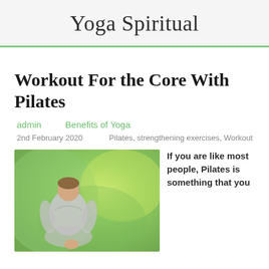Yoga Spiritual
Workout For the Core With Pilates
admin    Benefits of Yoga
2nd February 2020    Pilates, strengthening exercises, Workout
[Figure (photo): Person sitting in yoga meditation pose outdoors with blurred green background]
If you are like most people, Pilates is something that you